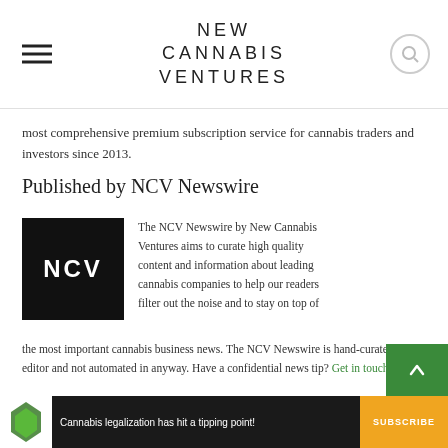NEW CANNABIS VENTURES
most comprehensive premium subscription service for cannabis traders and investors since 2013.
Published by NCV Newswire
[Figure (logo): Black square with white text 'NCV' — NCV Newswire logo]
The NCV Newswire by New Cannabis Ventures aims to curate high quality content and information about leading cannabis companies to help our readers filter out the noise and to stay on top of the most important cannabis business news. The NCV Newswire is hand-curated by an editor and not automated in anyway. Have a confidential news tip? Get in touch.